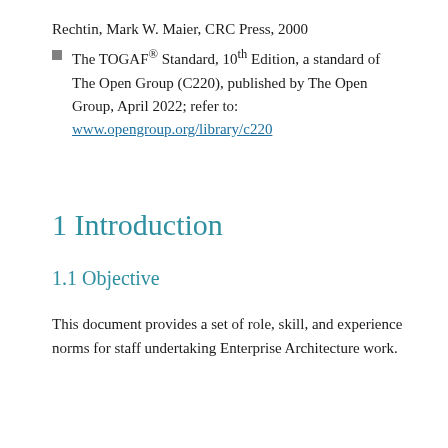Rechtin, Mark W. Maier, CRC Press, 2000 ■ The TOGAF® Standard, 10th Edition, a standard of The Open Group (C220), published by The Open Group, April 2022; refer to: www.opengroup.org/library/c220
1 Introduction
1.1 Objective
This document provides a set of role, skill, and experience norms for staff undertaking Enterprise Architecture work.